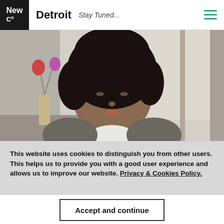New Co | Detroit | Stay Tuned...
[Figure (photo): A young Black woman with curly hair, wearing a grey cardigan over a white top, looking down, with flowers and a window in the background.]
This website uses cookies to distinguish you from other users. This helps us to provide you with a good user experience and allows us to improve our website. Privacy & Cookies Policy.
Accept and continue